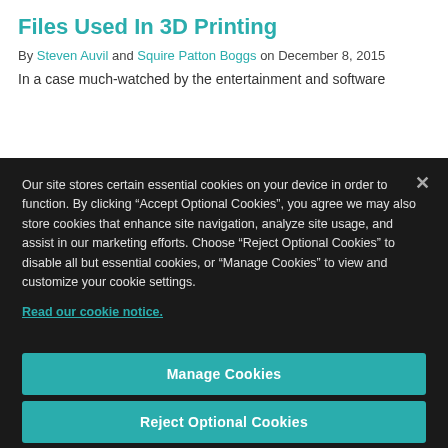Files Used In 3D Printing
By Steven Auvil and Squire Patton Boggs on December 8, 2015
In a case much-watched by the entertainment and software
Our site stores certain essential cookies on your device in order to function. By clicking “Accept Optional Cookies”, you agree we may also store cookies that enhance site navigation, analyze site usage, and assist in our marketing efforts. Choose “Reject Optional Cookies” to disable all but essential cookies, or “Manage Cookies” to view and customize your cookie settings.
Read our cookie notice.
Manage Cookies
Reject Optional Cookies
Accept Optional Cookies